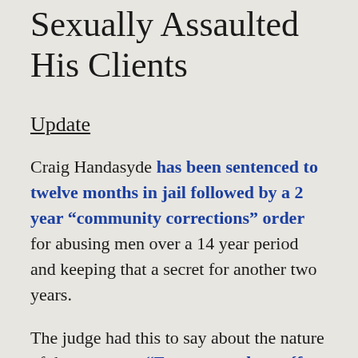Sexually Assaulted His Clients
Update
Craig Handasyde has been sentenced to twelve months in jail followed by a 2 year “community corrections” order for abusing men over a 14 year period and keeping that a secret for another two years.
The judge had this to say about the nature of the sentence: “Every attendance {for supervision and mental health treatment]